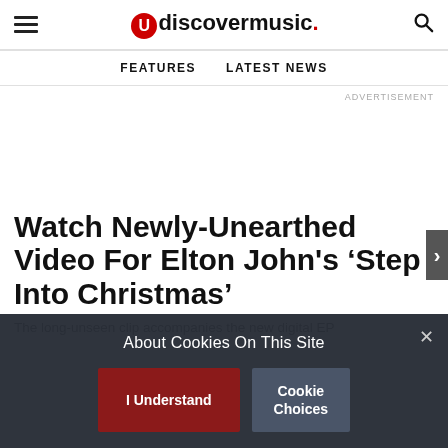uDiscoverMusic - FEATURES  LATEST NEWS
ADVERTISEMENT
Watch Newly-Unearthed Video For Elton John’s ‘Step Into Christmas’
The long-unseen clip accompanies the new digital EP
About Cookies On This Site
I Understand
Cookie Choices